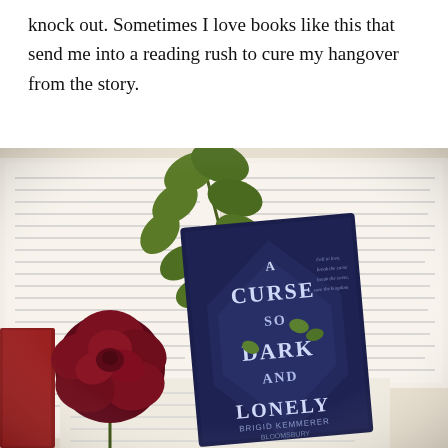knock out. Sometimes I love books like this that send me into a reading rush to cure my hangover from the story.
[Figure (photo): Flat lay photo showing the book 'A Curse So Dark and Lonely' by Brigid Kemmerer (Bloomsbury) placed among open books with text pages visible, a dark red rose, and green eucalyptus/leaf branches arranged decoratively around the book.]